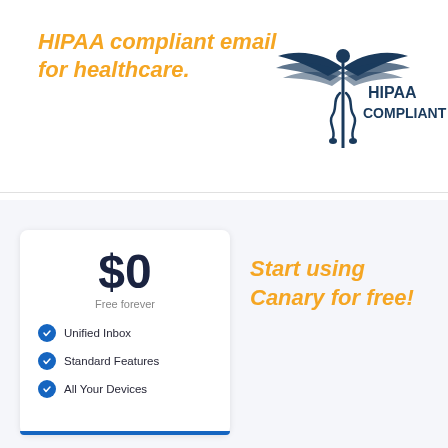HIPAA compliant email for healthcare.
[Figure (logo): HIPAA Compliant caduceus logo with wings, dark navy blue, text reads HIPAA COMPLIANT]
$0
Free forever
Unified Inbox
Standard Features
All Your Devices
Start using Canary for free!